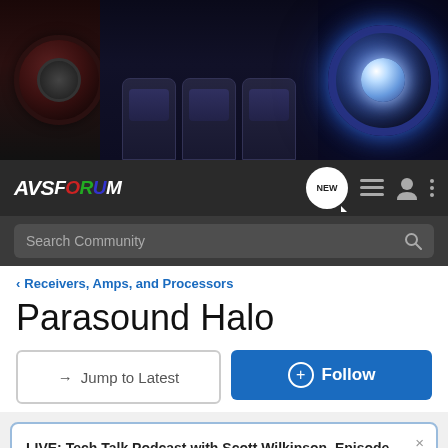[Figure (photo): AVS Forum banner image showing home theater equipment: speaker, luxury theater seats, and projector lens with blue lighting on dark background]
AVS Forum navigation bar with logo, NEW button, list icon, user icon, and menu icon
Search Community
< Receivers, Amps, and Processors
Parasound Halo
→ Jump to Latest
+ Follow
LIVE: Tech Talk Podcast with Scott Wilkinson, Episode 9 Click here for details.